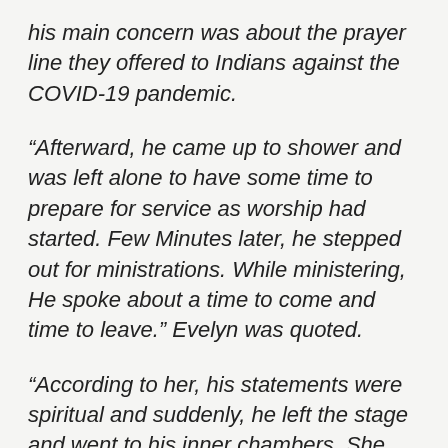his main concern was about the prayer line they offered to Indians against the COVID-19 pandemic.
“Afterward, he came up to shower and was left alone to have some time to prepare for service as worship had started. Few Minutes later, he stepped out for ministrations. While ministering, He spoke about a time to come and time to leave.” Evelyn was quoted.
“According to her, his statements were spiritual and suddenly, he left the stage and went to his inner chambers. She waited a few minutes and thereafter decided to check on him. And she met him sitting on the chair like someone reflecting but unconscious. She